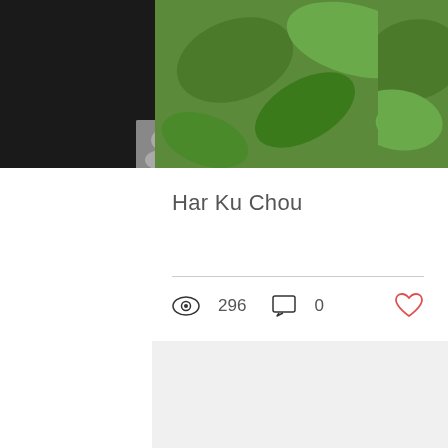[Figure (screenshot): Dark top navigation bar with hamburger menu icon (three white lines in white rectangle border)]
[Figure (photo): Green foliage/leaves photo strip across the top of the card]
Har Ku Chou
[Figure (infographic): Stats row showing eye/view icon with 296, comment icon with 0, and a red heart/like icon]
[Figure (infographic): Pagination dots: three dots with first dot active (blue), two inactive (grey)]
[Figure (infographic): Scroll-to-top circular button with chevron up arrow]
[Figure (infographic): More options circular button (blue) with three white dots]